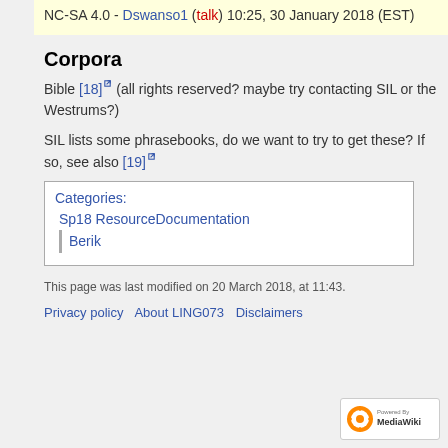NC-SA 4.0 - Dswanso1 (talk) 10:25, 30 January 2018 (EST)
Corpora
Bible [18] (all rights reserved? maybe try contacting SIL or the Westrums?)
SIL lists some phrasebooks, do we want to try to get these? If so, see also [19]
Categories:
Sp18 ResourceDocumentation
Berik
This page was last modified on 20 March 2018, at 11:43.
Privacy policy  About LING073  Disclaimers